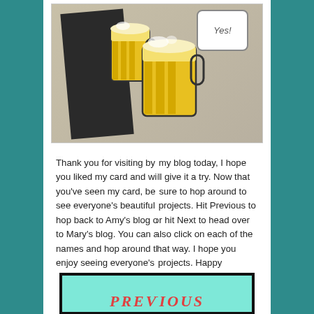[Figure (photo): A handmade craft card featuring beer mugs/steins stamped in yellow/gold on a dark charcoal and tan/beige background, with a 'Yes!' speech bubble label in the upper right corner.]
Thank you for visiting by my blog today, I hope you liked my card and will give it a try. Now that you've seen my card, be sure to hop around to see everyone's beautiful projects. Hit Previous to hop back to Amy's blog or hit Next to head over to Mary's blog. You can also click on each of the names and hop around that way. I hope you enjoy seeing everyone's projects. Happy Hopping!!
[Figure (screenshot): A navigation button labeled 'PREVIOUS' in red/pink serif letters on a mint/aqua gradient background with a thick black border.]